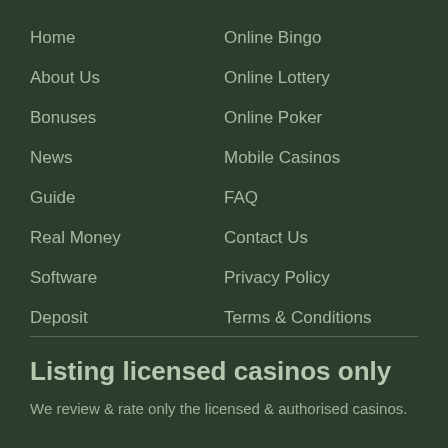Home
About Us
Bonuses
News
Guide
Real Money
Software
Deposit
Online Bingo
Online Lottery
Online Poker
Mobile Casinos
FAQ
Contact Us
Privacy Policy
Terms & Conditions
Listing licensed casinos only
We review & rate only the licensed & authorised casinos.